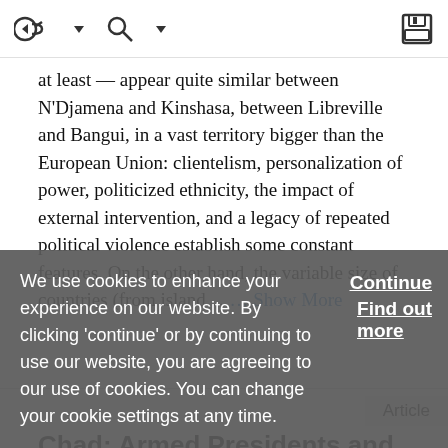[toolbar with navigation icons and save button]
at least — appear quite similar between N'Djamena and Kinshasa, between Libreville and Bangui, in a vast territory bigger than the European Union: clientelism, personalization of power, politicized ethnicity, the impact of external intervention, and a legacy of repeated political violence establish some constant features. On the other hand, the variable size of countries (from island... ... Show More
Article
Chad: Armed Presidents and Politics
We use cookies to enhance your experience on our website. By clicking 'continue' or by continuing to use our website, you are agreeing to our use of cookies. You can change your cookie settings at any time.
Continue
Find out more